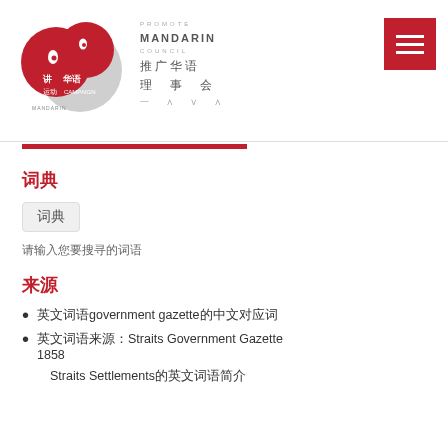[Figure (logo): Mandarin Campaign and Promote Mandarin Council logos with Chinese and English text]
词典
词典
请输入您要搜寻的词语
来源
英文词语government gazette的中文对应词
英文词语来源：Straits Government Gazette 1858
Straits Settlements政府公报的英文词语